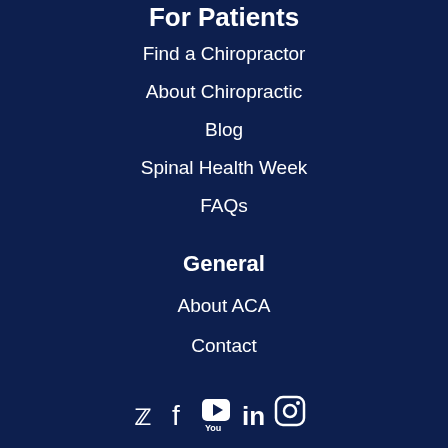For Patients
Find a Chiropractor
About Chiropractic
Blog
Spinal Health Week
FAQs
General
About ACA
Contact
[Figure (infographic): Social media icons: Twitter, Facebook, YouTube, LinkedIn, Instagram]
Patients